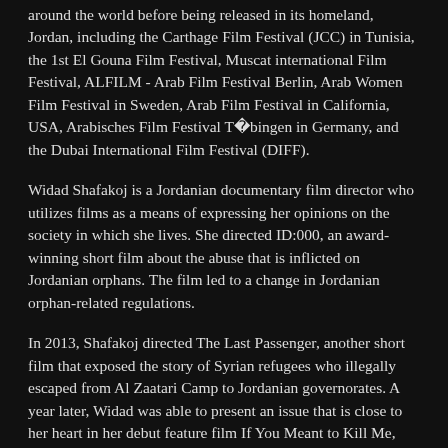around the world before being released in its homeland, Jordan, including the Carthage Film Festival (JCC) in Tunisia, the 1st El Gouna Film Festival, Muscat international Film Festival, ALFILM - Arab Film Festival Berlin, Arab Women Film Festival in Sweden, Arab Film Festival in California, USA, Arabisches Film Festival Tübingen in Germany, and the Dubai International Film Festival (DIFF).
Widad Shafakoj is a Jordanian documentary film director who utilizes films as a means of expressing her opinions on the society in which she lives. She directed ID:000, an award-winning short film about the abuse that is inflicted on Jordanian orphans. The film led to a change in Jordanian orphan-related regulations.
In 2013, Shafakoj directed The Last Passenger, another short film that exposed the story of Syrian refugees who illegally escaped from Al Zaatari Camp to Jordanian governorates. A year later, Widad was able to present an issue that is close to her heart in her debut feature film If You Meant to Kill Me, which follows women who are imprisoned for their protection, after being threatened to